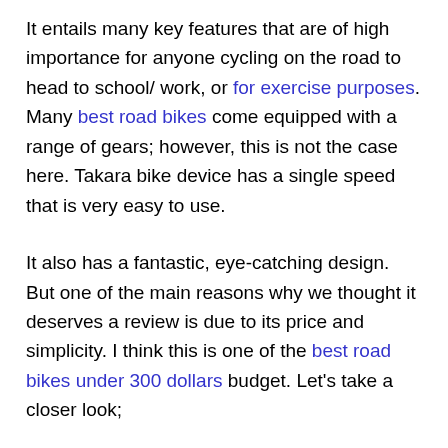It entails many key features that are of high importance for anyone cycling on the road to head to school/ work, or for exercise purposes. Many best road bikes come equipped with a range of gears; however, this is not the case here. Takara bike device has a single speed that is very easy to use.
It also has a fantastic, eye-catching design. But one of the main reasons why we thought it deserves a review is due to its price and simplicity. I think this is one of the best road bikes under 300 dollars budget. Let's take a closer look;